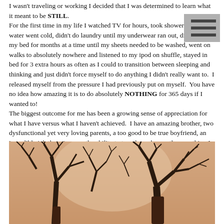I wasn't traveling or working I decided that I was determined to learn what it meant to be STILL. For the first time in my life I watched TV for hours, took showers until the water went cold, didn't do laundry until my underwear ran out, didn't make my bed for months at a time until my sheets needed to be washed, went on walks to absolutely nowhere and listened to my ipod on shuffle, stayed in bed for 3 extra hours as often as I could to transition between sleeping and thinking and just didn't force myself to do anything I didn't really want to. I released myself from the pressure I had previously put on myself. You have no idea how amazing it is to do absolutely NOTHING for 365 days if I wanted to! The biggest outcome for me has been a growing sense of appreciation for what I have versus what I haven't achieved. I have an amazing brother, two dysfunctional yet very loving parents, a too good to be true boyfriend, an incredible job that gives me the ability to travel - and more than anything I have learned that I don't need to do absolutely anything to be "worth it" like I had convinced myself. All I need to do is be greatful and have enough energy to give and receive love in order to find the type of happiness and balance that isn't fleeting. I photographed the tree below while exploring Great Falls last year. It managed to have so much charachter while maintaining it's simplicity. The tree represented to me the type of -growth- I would like to continue to achieve.
[Figure (photo): A sepia-toned photograph of bare winter tree branches against a light sky, showing intricate branching patterns.]